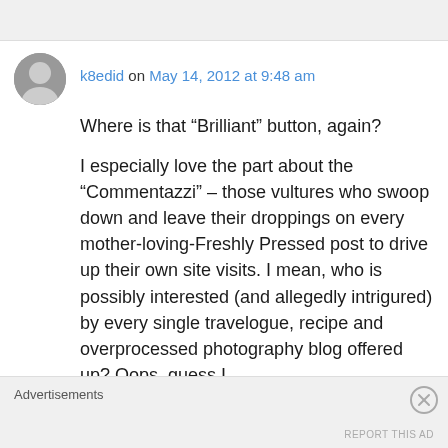k8edid on May 14, 2012 at 9:48 am
Where is that “Brilliant” button, again?

I especially love the part about the “Commentazzi” – those vultures who swoop down and leave their droppings on every mother-loving-Freshly Pressed post to drive up their own site visits. I mean, who is possibly interested (and allegedly intrigured) by every single travelogue, recipe and overprocessed photography blog offered up? Oops, guess I
Advertisements